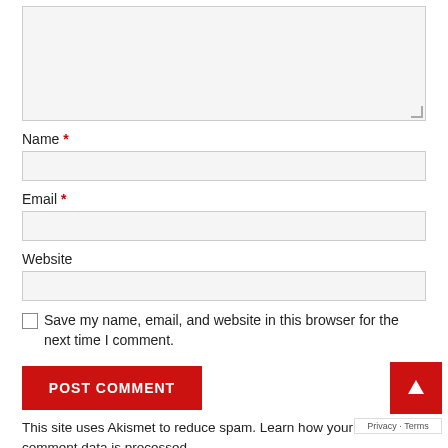[Figure (screenshot): Textarea input box with light gray background and resize handle in bottom-right corner]
Name *
[Figure (screenshot): Name text input field with light gray background]
Email *
[Figure (screenshot): Email text input field with light gray background]
Website
[Figure (screenshot): Website text input field with light gray background]
Save my name, email, and website in this browser for the next time I comment.
POST COMMENT
This site uses Akismet to reduce spam. Learn how your comment data is processed.